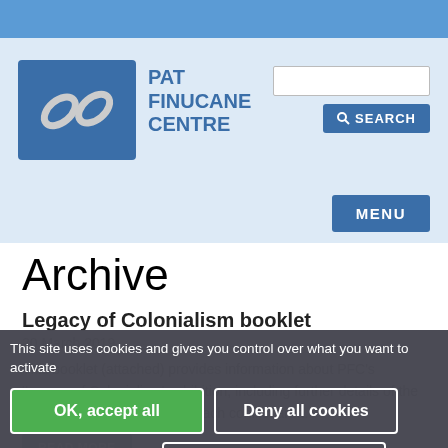[Figure (logo): Pat Finucane Centre logo - blue square with chain link icon and site name text]
PAT FINUCANE CENTRE
[Figure (screenshot): Search input field and Search button in header]
[Figure (screenshot): MENU button in navigation bar]
Archive
Legacy of Colonialism booklet
20 March 2019
This booklet (attached) provides information about PFC's 'Legacy of Colonialism' exhibition, including further details of the military and civilian costs in each conflict area.
READ MORE
This site uses cookies and gives you control over what you want to activate
OK, accept all
Deny all cookies
Personalize